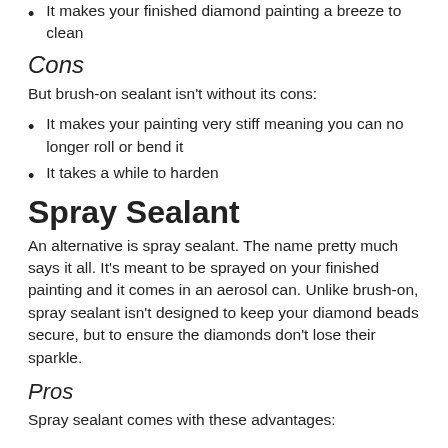It makes your finished diamond painting a breeze to clean
Cons
But brush-on sealant isn't without its cons:
It makes your painting very stiff meaning you can no longer roll or bend it
It takes a while to harden
Spray Sealant
An alternative is spray sealant. The name pretty much says it all. It's meant to be sprayed on your finished painting and it comes in an aerosol can. Unlike brush-on, spray sealant isn't designed to keep your diamond beads secure, but to ensure the diamonds don't lose their sparkle.
Pros
Spray sealant comes with these advantages: